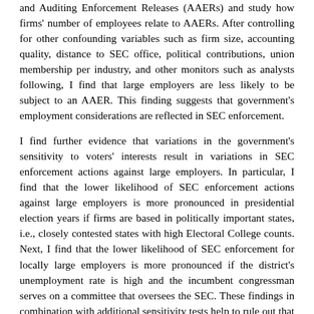and Auditing Enforcement Releases (AAERs) and study how firms' number of employees relate to AAERs. After controlling for other confounding variables such as firm size, accounting quality, distance to SEC office, political contributions, union membership per industry, and other monitors such as analysts following, I find that large employers are less likely to be subject to an AAER. This finding suggests that government's employment considerations are reflected in SEC enforcement.
I find further evidence that variations in the government's sensitivity to voters' interests result in variations in SEC enforcement actions against large employers. In particular, I find that the lower likelihood of SEC enforcement actions against large employers is more pronounced in presidential election years if firms are based in politically important states, i.e., closely contested states with high Electoral College counts. Next, I find that the lower likelihood of SEC enforcement for locally large employers is more pronounced if the district's unemployment rate is high and the incumbent congressman serves on a committee that oversees the SEC. These findings in combination with additional sensitivity tests help to rule out that unobserved correlated omitted firm characteristics of large employers could explain my earlier findings as well as to provide more direct insights how political influence from the government affects SEC enforcement.